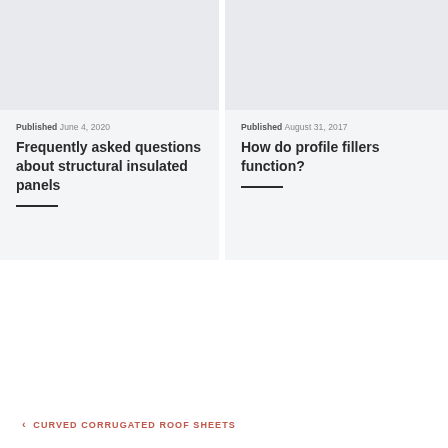[Figure (photo): Light gray placeholder image area for article card left]
Published June 4, 2020
Frequently asked questions about structural insulated panels
[Figure (photo): Light gray placeholder image area for article card right]
Published August 31, 2017
How do profile fillers function?
< CURVED CORRUGATED ROOF SHEETS